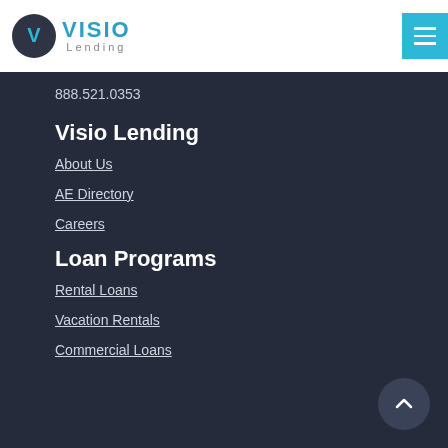[Figure (logo): Visio Lending logo with a dark circular V icon and teal VISIO text]
888.521.0353
Visio Lending
About Us
AE Directory
Careers
Loan Programs
Rental Loans
Vacation Rentals
Commercial Loans